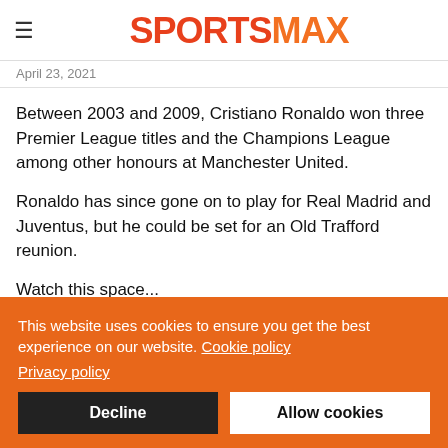SPORTSMAX
April 23, 2021
Between 2003 and 2009, Cristiano Ronaldo won three Premier League titles and the Champions League among other honours at Manchester United.
Ronaldo has since gone on to play for Real Madrid and Juventus, but he could be set for an Old Trafford reunion.
Watch this space...
This website uses cookies to ensure you get the best experience on our website. Cookie policy Privacy policy
Decline
Allow cookies